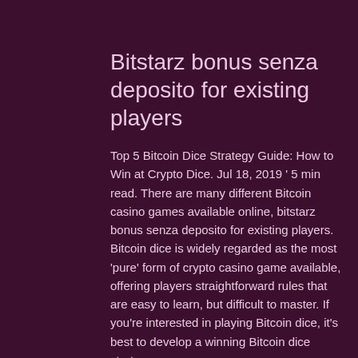Bitstarz bonus senza deposito for existing players
Top 5 Bitcoin Dice Strategy Guide: How to Win at Crypto Dice. Jul 18, 2019 ' 5 min read. There are many different Bitcoin casino games available online, bitstarz bonus senza deposito for existing players. Bitcoin dice is widely regarded as the most 'pure' form of crypto casino game available, offering players straightforward rules that are easy to learn, but difficult to master. If you're interested in playing Bitcoin dice, it's best to develop a winning Bitcoin dice strategy. It's a long-running site that has shown over the years its trustworthiness by paying out